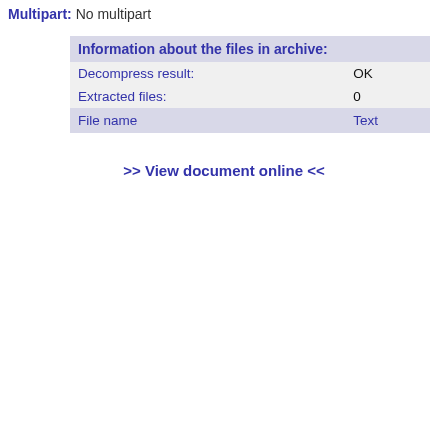Multipart: No multipart
| Information about the files in archive: |  |
| --- | --- |
| Decompress result: | OK |
| Extracted files: | 0 |
| File name | Text |
>> View document online <<